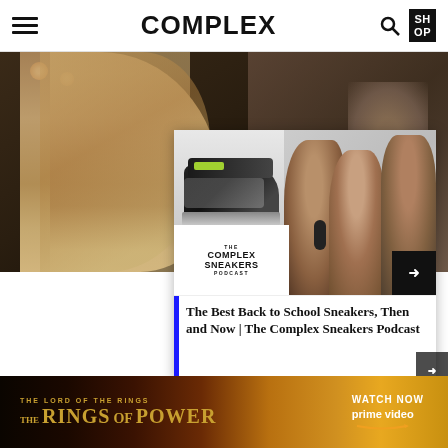COMPLEX
[Figure (photo): Woman with long blonde hair looking up, blurred restaurant/bar background]
[Figure (photo): The Complex Sneakers Podcast card overlay showing a Nike Air Max sneaker and three podcast hosts with a right arrow]
The Best Back to School Sneakers, Then and Now | The Complex Sneakers Podcast
Stahelski: Look at
Bad And The Ugly—there is so much back-story unsaid there, it's like a monument to Western fiction. We i
[Figure (photo): The Lord of the Rings: The Rings of Power advertisement banner - Watch Now on Prime Video]